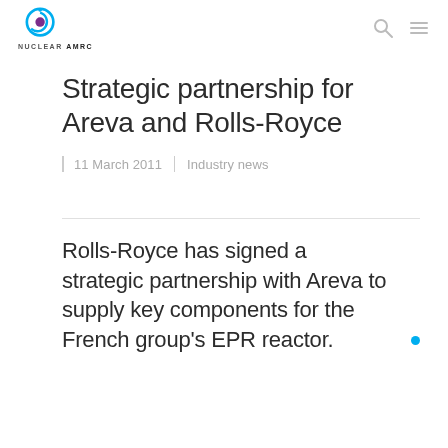NUCLEAR AMRC
Strategic partnership for Areva and Rolls-Royce
11 March 2011  |  Industry news
Rolls-Royce has signed a strategic partnership with Areva to supply key components for the French group's EPR reactor.